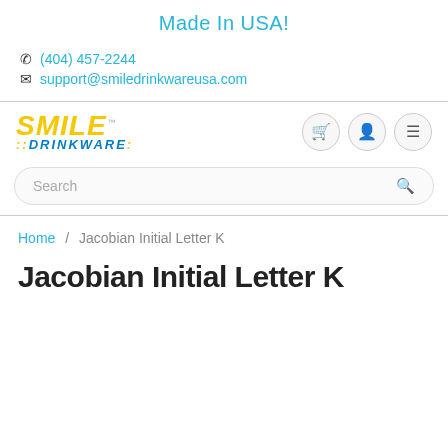Made In USA!
(404) 457-2244  support@smiledrinkwareusa.com
[Figure (logo): Smile Drinkware logo in yellow and blue italic bold text with TM mark]
Search
Home / Jacobian Initial Letter K
Jacobian Initial Letter K